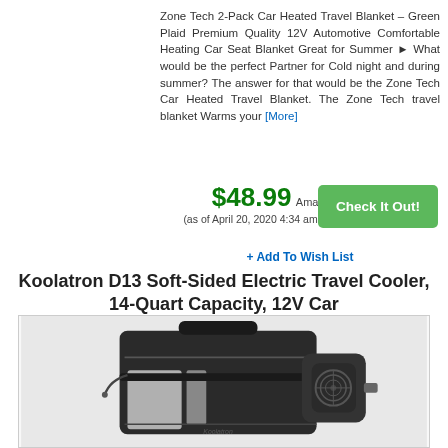Zone Tech 2-Pack Car Heated Travel Blanket – Green Plaid Premium Quality 12V Automotive Comfortable Heating Car Seat Blanket Great for Summer ► What would be the perfect Partner for Cold night and during summer? The answer for that would be the Zone Tech Car Heated Travel Blanket. The Zone Tech travel blanket Warms your [More]
$48.99 Amazon.com Price (as of April 20, 2020 4:34 am GMT-0400 - Details)
+ Add To Wish List
Koolatron D13 Soft-Sided Electric Travel Cooler, 14-Quart Capacity, 12V Car
[Figure (photo): Photo of Koolatron D13 soft-sided electric travel cooler bag, black with gray accent panels, handle on top, cooling unit on the side with fan grille, straps and zipper visible]